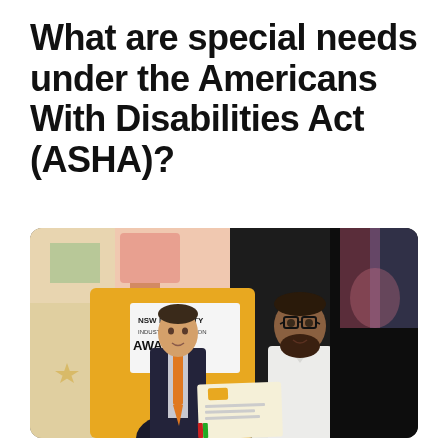What are special needs under the Americans With Disabilities Act (ASHA)?
[Figure (photo): Two men standing together at an awards ceremony in front of an NSW Disability Industry Innovation Awards banner. The man on the left wears a dark suit with an orange tie, the man on the right wears a white chef's jacket and glasses. They are holding a certificate/award between them.]